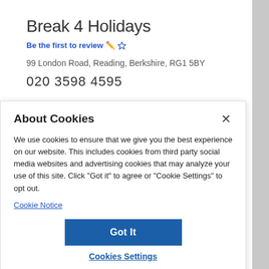Break 4 Holidays
Be the first to review
99 London Road, Reading, Berkshire, RG1 5BY
020 3598 4595
About Cookies
We use cookies to ensure that we give you the best experience on our website. This includes cookies from third party social media websites and advertising cookies that may analyze your use of this site. Click "Got it" to agree or "Cookie Settings" to opt out.
Cookie Notice
Got It
Cookies Settings